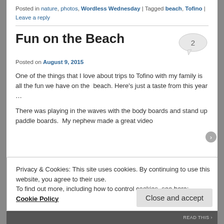Posted in nature, photos, Wordless Wednesday | Tagged beach, Tofino | Leave a reply
Fun on the Beach
Posted on August 9, 2015
One of the things that I love about trips to Tofino with my family is all the fun we have on the  beach. Here's just a taste from this year …
There was playing in the waves with the body boards and stand up paddle boards.  My nephew made a great video
Privacy & Cookies: This site uses cookies. By continuing to use this website, you agree to their use.
To find out more, including how to control cookies, see here: Cookie Policy